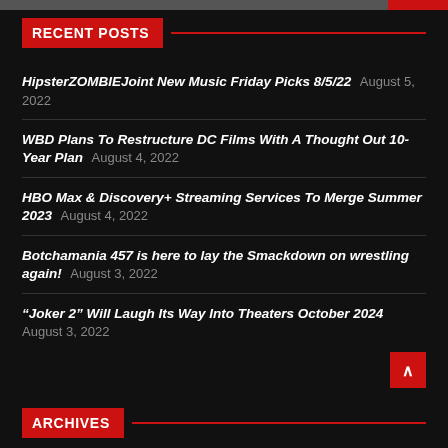RECENT POSTS
HipsterZOMBIEJoint New Music Friday Picks 8/5/22 August 5, 2022
WBD Plans To Restructure DC Films With A Thought Out 10-Year Plan August 4, 2022
HBO Max & Discovery+ Streaming Services To Merge Summer 2023 August 4, 2022
Botchamania 457 is here to lay the Smackdown on wrestling again! August 3, 2022
“Joker 2” Will Laugh Its Way Into Theaters October 2024 August 3, 2022
ARCHIVES